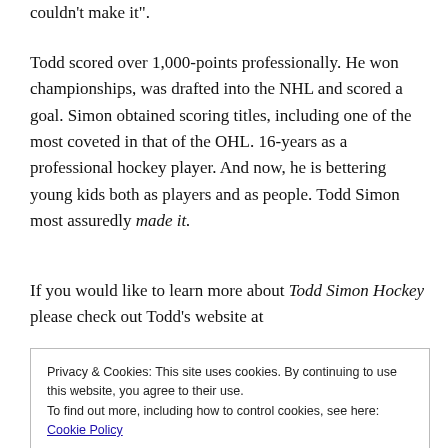couldn't make it".
Todd scored over 1,000-points professionally. He won championships, was drafted into the NHL and scored a goal. Simon obtained scoring titles, including one of the most coveted in that of the OHL. 16-years as a professional hockey player. And now, he is bettering young kids both as players and as people. Todd Simon most assuredly made it.
If you would like to learn more about Todd Simon Hockey please check out Todd's website at
Privacy & Cookies: This site uses cookies. By continuing to use this website, you agree to their use.
To find out more, including how to control cookies, see here:
Cookie Policy
Close and accept